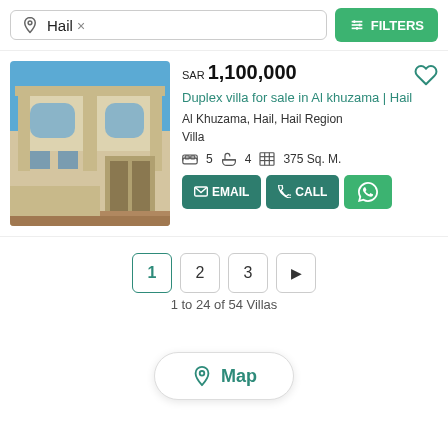Hail ×
FILTERS
[Figure (photo): Exterior photo of a two-story duplex villa with beige/cream facade, arched windows, and a gate, under a blue sky.]
SAR 1,100,000
Duplex villa for sale in Al khuzama | Hail
Al Khuzama, Hail, Hail Region
Villa
5  4  375 Sq. M.
EMAIL
CALL
1  2  3  ▶
1 to 24 of 54 Villas
Map